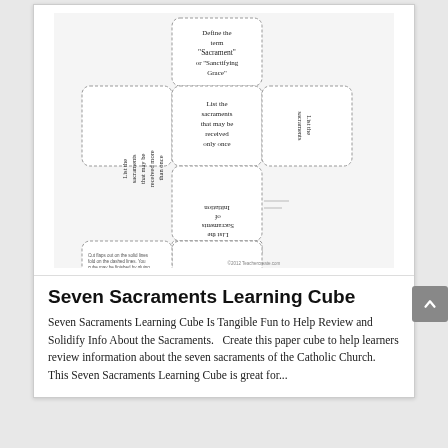[Figure (illustration): A paper cube net/template for the Seven Sacraments Learning Cube showing six faces with text about sacraments, some text printed upside down for folding purposes. The cube net shows: top face 'Define the term Sacrament or Sanctifying Grace', middle row with three faces about listing sacraments received more than once / only once / Sacraments of Initiation, and bottom faces with Sacraments of Healing.]
Seven Sacraments Learning Cube
Seven Sacraments Learning Cube Is Tangible Fun to Help Review and Solidify Info About the Sacraments.   Create this paper cube to help learners review information about the seven sacraments of the Catholic Church.  This Seven Sacraments Learning Cube is great for...